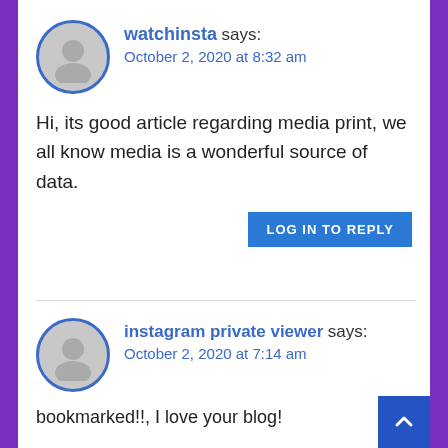watchinsta says:
October 2, 2020 at 8:32 am
Hi, its good article regarding media print, we all know media is a wonderful source of data.
LOG IN TO REPLY
instagram private viewer says:
October 2, 2020 at 7:14 am
bookmarked!!, I love your blog!
LOG IN TO REPLY